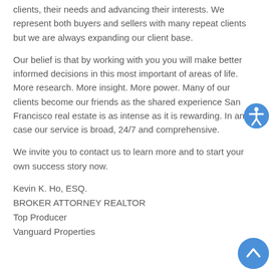clients, their needs and advancing their interests. We represent both buyers and sellers with many repeat clients but we are always expanding our client base.
Our belief is that by working with you you will make better informed decisions in this most important of areas of life. More research. More insight. More power. Many of our clients become our friends as the shared experience San Francisco real estate is as intense as it is rewarding. In any case our service is broad, 24/7 and comprehensive.
We invite you to contact us to learn more and to start your own success story now.
Kevin K. Ho, ESQ.
BROKER ATTORNEY REALTOR
Top Producer
Vanguard Properties